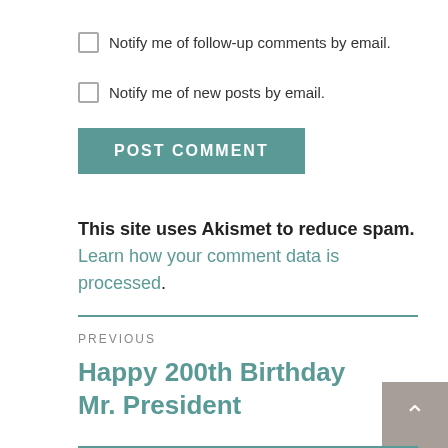Notify me of follow-up comments by email.
Notify me of new posts by email.
POST COMMENT
This site uses Akismet to reduce spam. Learn how your comment data is processed.
PREVIOUS
Happy 200th Birthday Mr. President